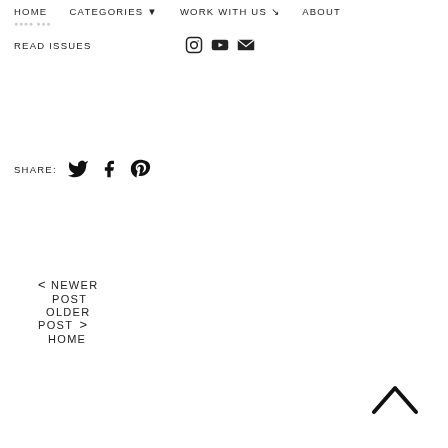HOME   CATEGORIES ▾   WORK WITH US ⊿   ABOUT
READ ISSUES
SHARE:  [Twitter] [Facebook] [Pinterest]
< NEWER POST
OLDER POST >
HOME
[Figure (other): Chevron/caret up arrow button for scroll to top]